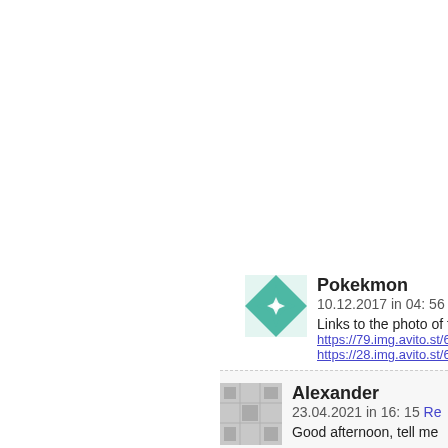[Figure (screenshot): Comment by user Pokekmon dated 10.12.2017 at 04:56 with teal geometric avatar and links to avito image URLs]
[Figure (screenshot): Comment by user Alexander dated 23.04.2021 at 16:15 with gray placeholder avatar and text starting 'Good afternoon, tell me']